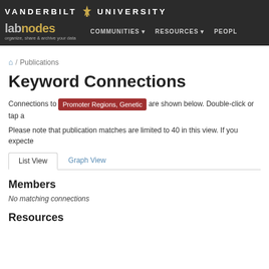VANDERBILT UNIVERSITY — labnodes — organize, share & archive your data — COMMUNITIES — RESOURCES — PEOPLE
🏠 / Publications
Keyword Connections
Connections to Promoter Regions, Genetic are shown below. Double-click or tap a
Please note that publication matches are limited to 40 in this view. If you expecte
List View  Graph View
Members
No matching connections
Resources